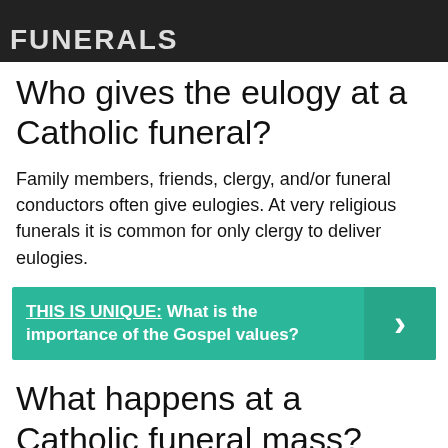[Figure (photo): Dark background image of people at a funeral with white bold text 'FUNERALS' overlaid at the top]
Who gives the eulogy at a Catholic funeral?
Family members, friends, clergy, and/or funeral conductors often give eulogies. At very religious funerals it is common for only clergy to deliver eulogies.
THIS IS UNIQUE:  What is the importance of the Gospel values?
What happens at a Catholic funeral mass?
The rite of the funeral Mass includes the blessing of the casket with holy water, a